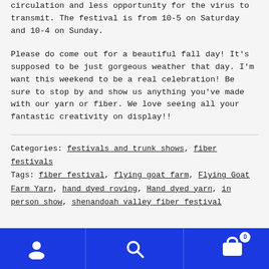circulation and less opportunity for the virus to transmit. The festival is from 10-5 on Saturday and 10-4 on Sunday.
Please do come out for a beautiful fall day! It's supposed to be just gorgeous weather that day. I'm want this weekend to be a real celebration! Be sure to stop by and show us anything you've made with our yarn or fiber. We love seeing all your fantastic creativity on display!!
Categories: festivals and trunk shows, fiber festivals
Tags: fiber festival, flying goat farm, Flying Goat Farm Yarn, hand dyed roving, Hand dyed yarn, in person show, shenandoah valley fiber festival
Navigation bar with user, search, and cart icons